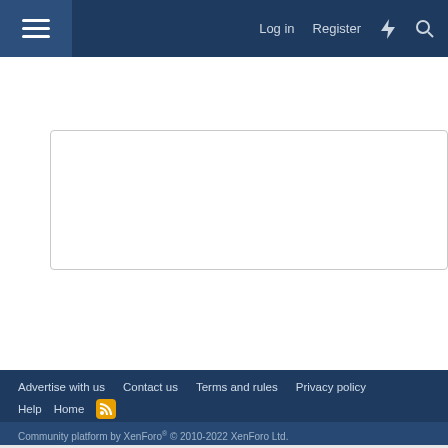Log in  Register
[Figure (screenshot): Reply text area input box, empty]
Post reply
Share: [Facebook] [Twitter] [Reddit] [Pinterest] [Tumblr] [WhatsApp] [Email] [Link]
< Amtrak Rail Discussion
Advertise with us  Contact us  Terms and rules  Privacy policy  Help  Home  [RSS]
Community platform by XenForo® © 2010-2022 XenForo Ltd.
AN ELITE CAFEMEDIA TRAVEL PUBLISHER